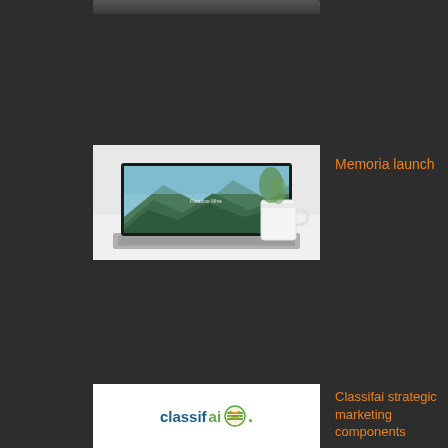[Figure (screenshot): Partial screenshot of a laptop or device at the very top of the page]
[Figure (photo): Laptop computer displaying a scenic mountain landscape website, with a white mug in the background, on a white surface]
Memoria launch
[Figure (logo): Classifai company logo with blue and green text and circular icon]
Classifai strategic marketing components